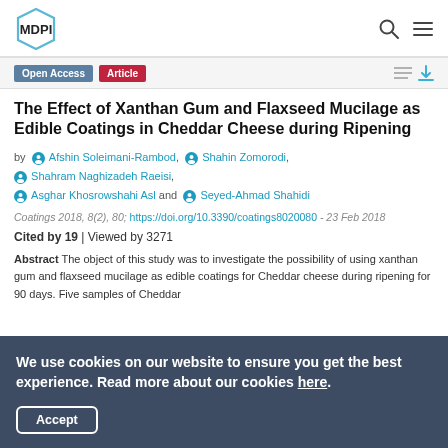MDPI
The Effect of Xanthan Gum and Flaxseed Mucilage as Edible Coatings in Cheddar Cheese during Ripening
by Afshin Soleimani-Rambod, Shahin Zomorodi, Shahram Naghizadeh Raeisi, Asghar Khosrowshahi Asl and Seyed-Ahmad Shahidi
Coatings 2018, 8(2), 80; https://doi.org/10.3390/coatings8020080 - 23 Feb 2018
Cited by 19 | Viewed by 3271
Abstract The object of this study was to investigate the possibility of using xanthan gum and flaxseed mucilage as edible coatings for Cheddar cheese during ripening for 90 days. Five samples of Cheddar
We use cookies on our website to ensure you get the best experience. Read more about our cookies here.
Accept